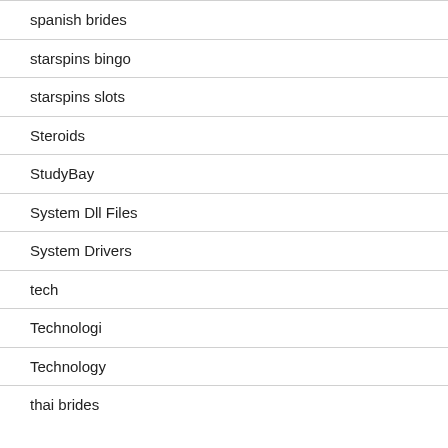spanish brides
starspins bingo
starspins slots
Steroids
StudyBay
System Dll Files
System Drivers
tech
Technologi
Technology
thai brides